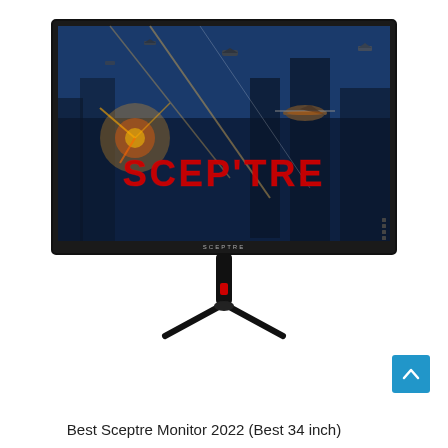[Figure (photo): Sceptre 34-inch ultrawide gaming monitor with black bezel and stand, displaying a sci-fi action game scene with the red SCEPTRE logo on screen]
Best Sceptre Monitor 2022 (Best 34 inch)